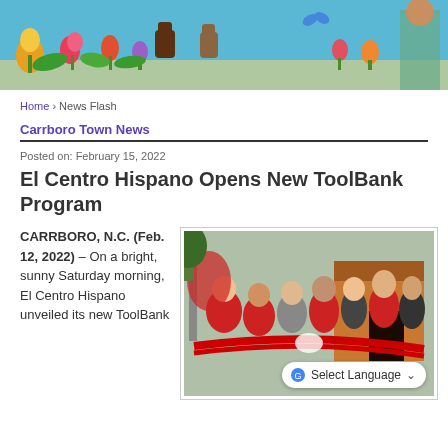[Figure (photo): Colorful mural on a building wall with flowers, plants, and fists raised in solidarity against a blue background]
Home › News Flash
Carrboro Town News
Posted on: February 15, 2022
El Centro Hispano Opens New ToolBank Program
CARRBORO, N.C. (Feb. 12, 2022) – On a bright, sunny Saturday morning, El Centro Hispano unveiled its new ToolBank
[Figure (photo): Group of people at a ribbon-cutting ceremony outside a small shed building, several wearing red shirts and masks, holding a large red ribbon]